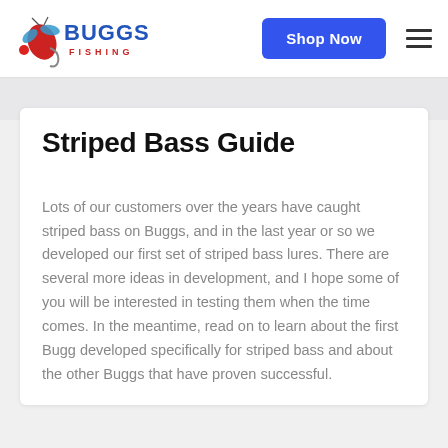BUGGS FISHING — Shop Now
Striped Bass Guide
Lots of our customers over the years have caught striped bass on Buggs, and in the last year or so we developed our first set of striped bass lures. There are several more ideas in development, and I hope some of you will be interested in testing them when the time comes. In the meantime, read on to learn about the first Bugg developed specifically for striped bass and about the other Buggs that have proven successful.